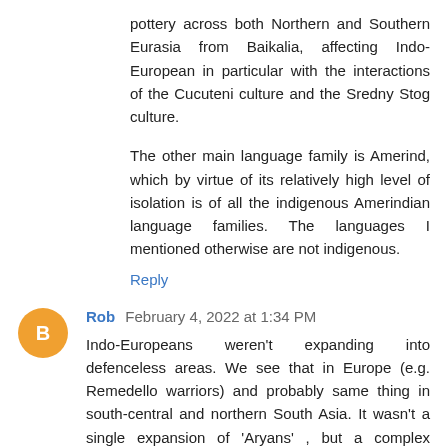pottery across both Northern and Southern Eurasia from Baikalia, affecting Indo-European in particular with the interactions of the Cucuteni culture and the Sredny Stog culture.
The other main language family is Amerind, which by virtue of its relatively high level of isolation is of all the indigenous Amerindian language families. The languages I mentioned otherwise are not indigenous.
Reply
Rob February 4, 2022 at 1:34 PM
Indo-Europeans weren't expanding into defenceless areas. We see that in Europe (e.g. Remedello warriors) and probably same thing in south-central and northern South Asia. It wasn't a single expansion of 'Aryans' , but a complex process, even with reverses of fortunes at times I think Indo-Aryan developed in SCA whilst proto-Iranian was still further north, in the steppe during M2. The main thing which allowed the expansion of indo-